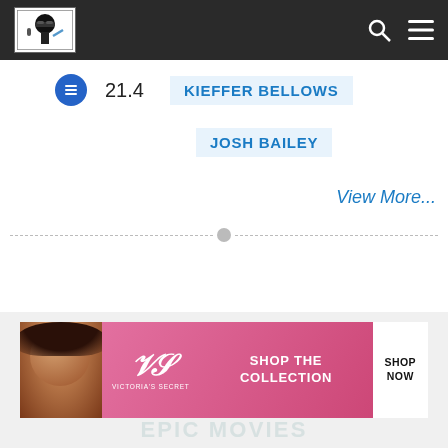Navigation bar with logo, search and menu icons
21.4
KIEFFER BELLOWS
JOSH BAILEY
View More...
[Figure (other): Victoria's Secret advertisement banner with model, VS logo, 'SHOP THE COLLECTION' text and 'SHOP NOW' button]
EPIC MOVIES